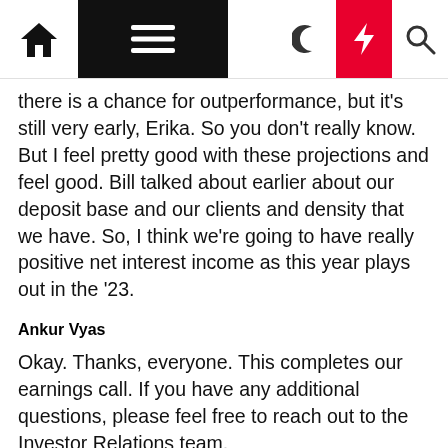Navigation bar with home, menu, moon, bolt, search icons
there is a chance for outperformance, but it's still very early, Erika. So you don't really know. But I feel pretty good with these projections and feel good. Bill talked about earlier about our deposit base and our clients and density that we have. So, I think we're going to have really positive net interest income as this year plays out in the '23.
Ankur Vyas
Okay. Thanks, everyone. This completes our earnings call. If you have any additional questions, please feel free to reach out to the Investor Relations team.
Thank you for your interest in Truist. We hope you have a great day. Katie, you may now disconnect the call.